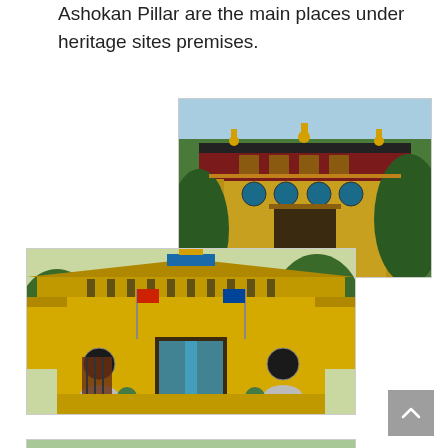Ashokan Pillar are the main places under heritage sites premises.
[Figure (photo): Front view of a Tibetan Buddhist monastery/temple with ornate decorations, gold statues on roof, red and yellow facade with intricate carvings, surrounded by green trees.]
[Figure (photo): Front view of a yellow painted Buddhist temple/monastery with decorative elements, flags, blue entrance door, and ornamental motifs, surrounded by trees.]